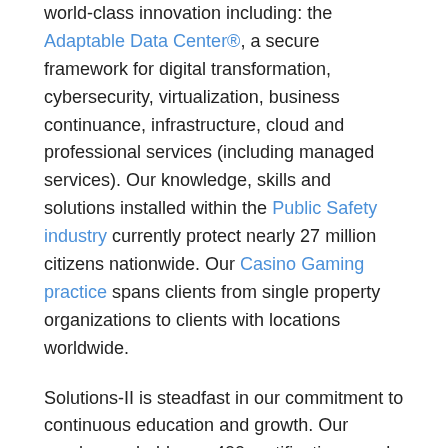world-class innovation including: the Adaptable Data Center®, a secure framework for digital transformation, cybersecurity, virtualization, business continuance, infrastructure, cloud and professional services (including managed services). Our knowledge, skills and solutions installed within the Public Safety industry currently protect nearly 27 million citizens nationwide. Our Casino Gaming practice spans clients from single property organizations to clients with locations worldwide.
Solutions-II is steadfast in our commitment to continuous education and growth. Our employees hold over 400 certifications, and we are proud of our notable achievements, most